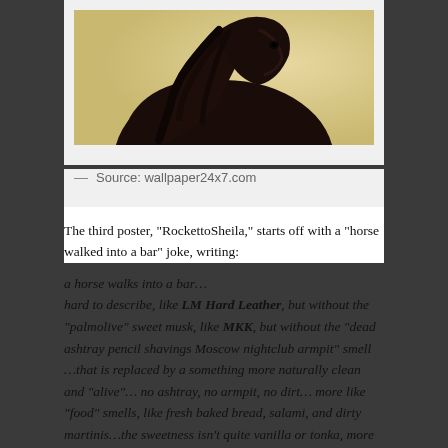[Figure (photo): A dark brown/black horse with flowing mane photographed against a light background, cropped to show head and neck area.]
— Source: wallpaper24x7.com
The third poster, “RockettoSheila,” starts off with a “horse walked into a bar” joke, writing:
a horse walks into a bar…
hard to describe, like LM Hard Leather, but without the “palmolive” sweet musk, like MKK, but without the “dead ashtray pencil shavings Moscow nightclub armpit” smell …that is replaced by a something more naturally clean and “alive”… no ashtray, no armpit, no dirt… more like “food” smells, like fresh baked bread, salami, and dirty martinis…the sweetness isn’t quite vanilla or tonka, more like hot buttered rum, there is a definite “hair and skin smell” to the leather, maybe a dash of saddle soap to really bring the horse to life… like all good